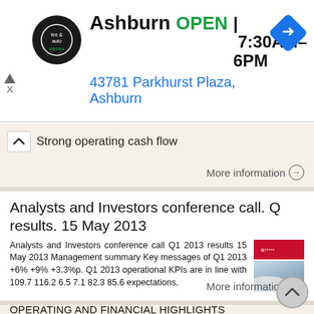[Figure (other): Advertisement banner for Virginia Tire & Auto Ashburn location showing logo, OPEN status, hours 7:30AM-6PM, address 43781 Parkhurst Plaza Ashburn, and blue diamond navigation arrow icon]
Strong operating cash flow
More information →
Analysts and Investors conference call. Q results. 15 May 2013
Analysts and Investors conference call Q1 2013 results 15 May 2013 Management summary Key messages of Q1 2013 +6% +9% +3.3%p. Q1 2013 operational KPIs are in line with 109.7 116.2 6.5 7.1 82.3 85.6 expectations,
More information →
OPERATING AND FINANCIAL HIGHLIGHTS